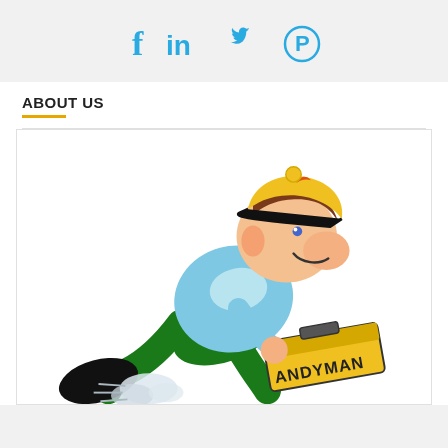[Figure (infographic): Social media icons: Facebook (f), LinkedIn (in), Twitter bird, Pinterest (P) in blue color]
ABOUT US
[Figure (illustration): Cartoon illustration of a running handyman in blue shirt, green pants, yellow cap, carrying a yellow toolbox labeled HANDYMAN, with motion dust clouds at feet]